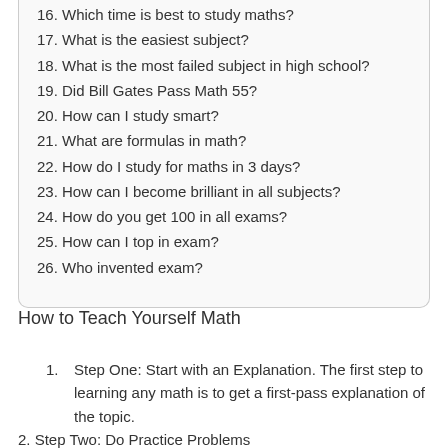16. Which time is best to study maths?
17. What is the easiest subject?
18. What is the most failed subject in high school?
19. Did Bill Gates Pass Math 55?
20. How can I study smart?
21. What are formulas in math?
22. How do I study for maths in 3 days?
23. How can I become brilliant in all subjects?
24. How do you get 100 in all exams?
25. How can I top in exam?
26. Who invented exam?
How to Teach Yourself Math
1. Step One: Start with an Explanation. The first step to learning any math is to get a first-pass explanation of the topic.
2. Step Two: Do Practice Problems